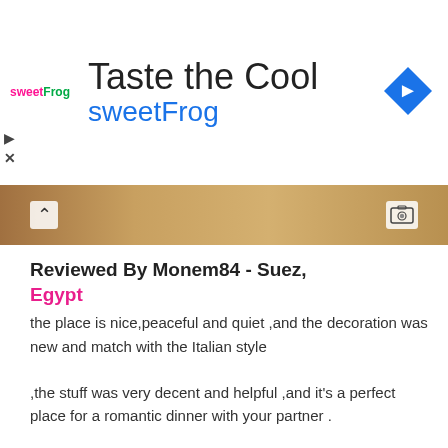[Figure (screenshot): SweetFrog advertisement banner with logo, 'Taste the Cool' title, blue 'sweetFrog' text, and a blue diamond navigation icon on the right]
[Figure (photo): Partial photo strip showing a restaurant interior with warm wooden tones, a chevron-up button on the left and a photo/image icon on the right]
Reviewed By Monem84 - Suez, Egypt
the place is nice,peaceful and quiet ,and the decoration was new and match with the Italian style
,the stuff was very decent and helpful ,and it's a perfect place for a romantic dinner with your partner .
the quality of the food is very good with a delicious taste ,Take advice go for chicken dishes (carry or mushroom sauce )and alferado mushroom chicken pasta